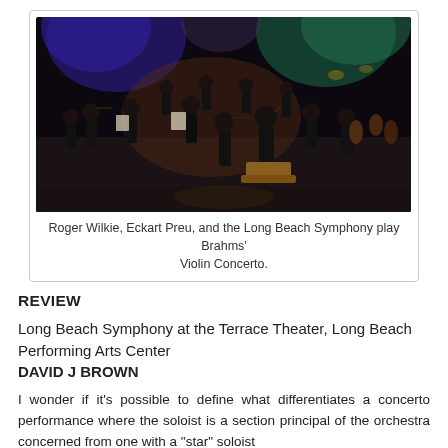[Figure (photo): Orchestra performance photo showing Roger Wilkie, Eckart Preu, and the Long Beach Symphony on stage performing Brahms' Violin Concerto at a concert hall with colorful stage lighting.]
Roger Wilkie, Eckart Preu, and the Long Beach Symphony play Brahms' Violin Concerto.
REVIEW
Long Beach Symphony at the Terrace Theater, Long Beach Performing Arts Center
DAVID J BROWN
I wonder if it's possible to define what differentiates a concerto performance where the soloist is a section principal of the orchestra concerned from one with a "star" soloist